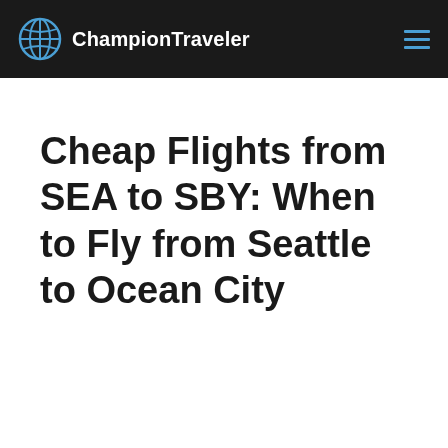ChampionTraveler
Cheap Flights from SEA to SBY: When to Fly from Seattle to Ocean City